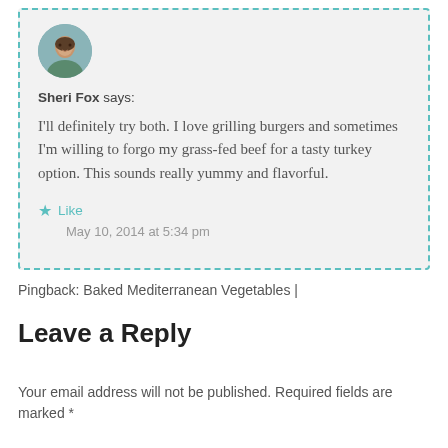[Figure (photo): Circular avatar photo of a person, used as commenter profile picture]
Sheri Fox says:
I'll definitely try both. I love grilling burgers and sometimes I'm willing to forgo my grass-fed beef for a tasty turkey option. This sounds really yummy and flavorful.
Like
May 10, 2014 at 5:34 pm
Pingback: Baked Mediterranean Vegetables |
Leave a Reply
Your email address will not be published. Required fields are marked *